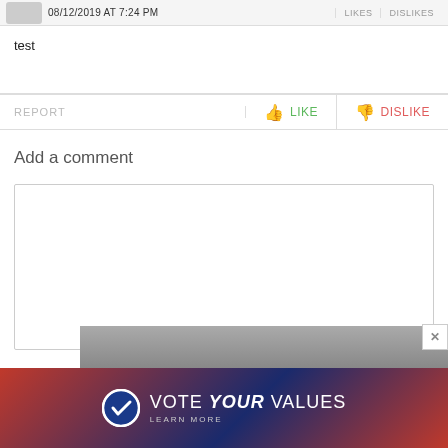08/12/2019 AT 7:24 PM   LIKES   DISLIKES
test
REPORT   👍 LIKE   👎 DISLIKE
Add a comment
[Figure (screenshot): Empty comment text area input box]
POST COMMENT
[Figure (photo): Advertisement banner: VOTE YOUR VALUES LEARN MORE with circular logo icon on dark blue/red gradient background]